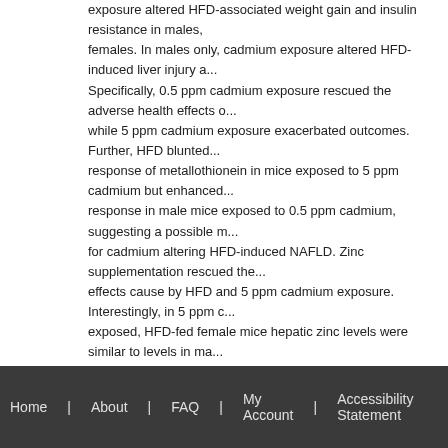exposure altered HFD-associated weight gain and insulin resistance in males, females. In males only, cadmium exposure altered HFD-induced liver injury a... Specifically, 0.5 ppm cadmium exposure rescued the adverse health effects o... while 5 ppm cadmium exposure exacerbated outcomes. Further, HFD blunted... response of metallothionein in mice exposed to 5 ppm cadmium but enhanced... response in male mice exposed to 0.5 ppm cadmium, suggesting a possible m... for cadmium altering HFD-induced NAFLD. Zinc supplementation rescued the... effects cause by HFD and 5 ppm cadmium exposure. Interestingly, in 5 ppm c... exposed, HFD-fed female mice hepatic zinc levels were similar to levels in ma... zinc supplementation. Overall, results from this study confirm the multi-hit natu... NAFLD, show whole life, low dose cadmium exposure alters HFD-induced NA... suggest a potential therapeutic role for zinc. Furthermore, this study highlights... importance of sex as a risk factor in disease development.
Recommended Citation
Young, Jamie Lynn, "The effects of whole life, low dose cadmium exposure on high fa... induced nonalcoholic fatty liver disease and the role of zinc." (2020). Electronic Thes... Dissertations. Paper 3561. https://doi.org/10.18297/etd/3561
Home | About | FAQ | My Account | Accessibility Statement